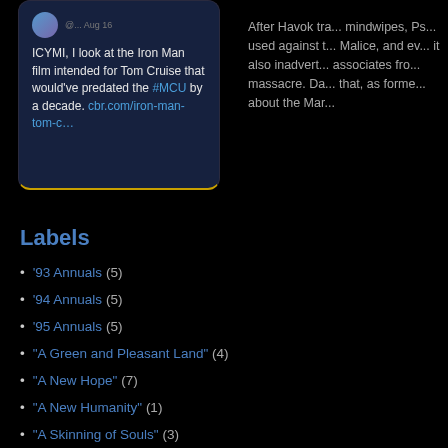[Figure (screenshot): Tweet card on dark background. Avatar icon visible. Handle and date '@... Aug 16'. Tweet text: 'ICYMI, I look at the Iron Man film intended for Tom Cruise that would've predated the #MCU by a decade. cbr.com/iron-man-tom-c…']
Labels
'93 Annuals (5)
'94 Annuals (5)
'95 Annuals (5)
"A Green and Pleasant Land" (4)
"A New Hope" (7)
"A New Humanity" (1)
"A Skinning of Souls" (3)
"Acts of Vengeance" (18)
"Age of Apocalypse" (40)
"Asgardian Wars II" (5)
After Havok tra... mindwipes, Ps... used against t... Malice, and ev... it also inadvert... associates fro... massacre. Da... that, as forme... about the Mar...